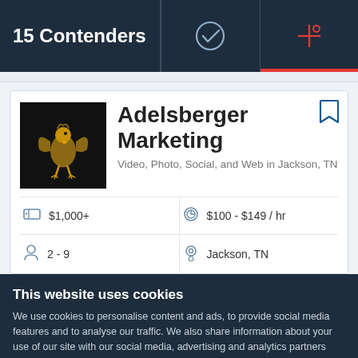15 Contenders
Adelsberger Marketing
Video, Photo, Social, and Web in Jackson, TN
| $1,000+ | $100 - $149 / hr |
| 2 - 9 | Jackson, TN |
This website uses cookies
We use cookies to personalise content and ads, to provide social media features and to analyse our traffic. We also share information about your use of our site with our social media, advertising and analytics partners who may combine it with other information that you've provided to them or that they've collected from your use of their services. You agree to our cookies if you continue to use our website.
Close
Show details